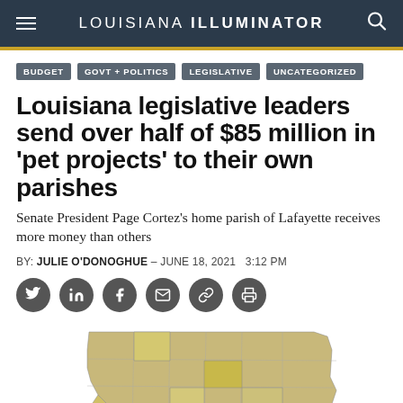LOUISIANA ILLUMINATOR
BUDGET
GOVT + POLITICS
LEGISLATIVE
UNCATEGORIZED
Louisiana legislative leaders send over half of $85 million in 'pet projects' to their own parishes
Senate President Page Cortez's home parish of Lafayette receives more money than others
BY: JULIE O'DONOGHUE – JUNE 18, 2021   3:12 PM
[Figure (map): A map of Louisiana parishes highlighted in varying shades of yellow/olive showing distribution of pet project funding, with Lafayette parish prominently highlighted.]